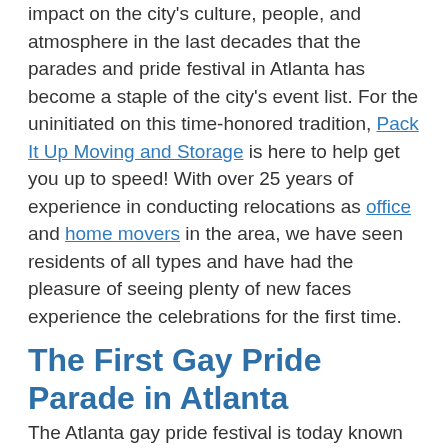impact on the city's culture, people, and atmosphere in the last decades that the parades and pride festival in Atlanta has become a staple of the city's event list. For the uninitiated on this time-honored tradition, Pack It Up Moving and Storage is here to help get you up to speed! With over 25 years of experience in conducting relocations as office and home movers in the area, we have seen residents of all types and have had the pleasure of seeing plenty of new faces experience the celebrations for the first time.
The First Gay Pride Parade in Atlanta
The Atlanta gay pride festival is today known as one of the points of pride when it comes to the city's celebrations,